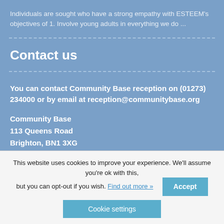Individuals are sought who have a strong empathy with ESTEEM's objectives of 1. Involve young adults in everything we do ...
Contact us
You can contact Community Base reception on (01273) 234000 or by email at reception@communitybase.org
Community Base
113 Queens Road
Brighton, BN1 3XG
Useful links
Privacy Notice and Cookies Policy
This website uses cookies to improve your experience. We'll assume you're ok with this, but you can opt-out if you wish. Find out more »
Accept
Cookie settings